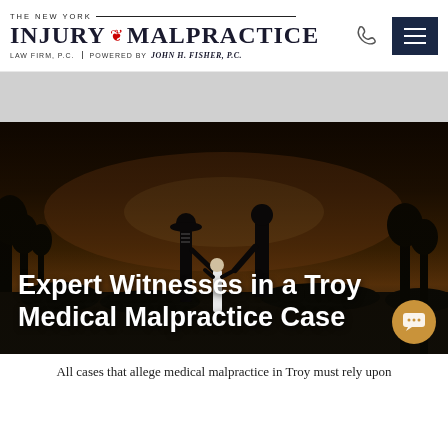THE NEW YORK INJURY & MALPRACTICE LAW FIRM, P.C. | POWERED BY JOHN H. FISHER, P.C.
[Figure (photo): A family (man, woman, and small child) walking hand-in-hand away from camera through a field at sunset, with trees and warm backlit scenery.]
Expert Witnesses in a Troy Medical Malpractice Case
All cases that allege medical malpractice in Troy must rely upon